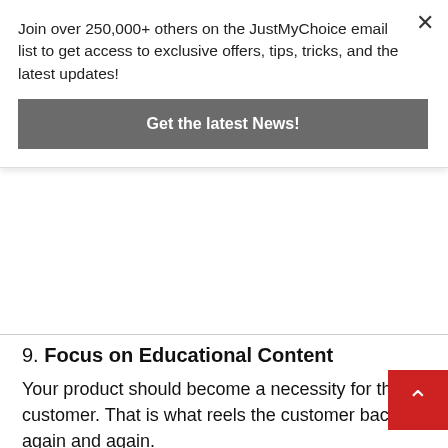Join over 250,000+ others on the JustMyChoice email list to get access to exclusive offers, tips, tricks, and the latest updates!
Get the latest News!
9. Focus on Educational Content
Your product should become a necessity for the customer. That is what reels the customer back in again and again.
For this, firstly, your product should be easy in its application. Secondly, even if it's not, you need to teach your customers to use it. Resource out videos, blogs and informational content telling them all about it. Even if less focus is given on the technicality of the product if the application is clear your job is done.